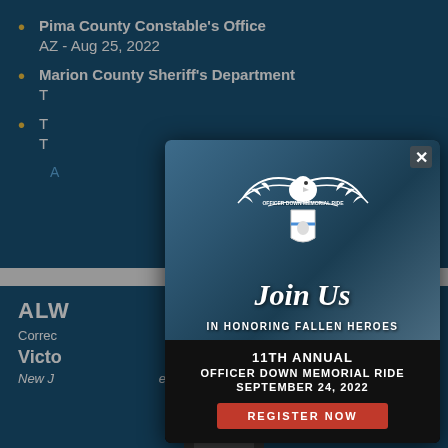Pima County Constable's Office AZ - Aug 25, 2022
Marion County Sheriff's Department T...
T... T... A...
ALWA...
Correc...
Victor...
New J... ey
EOW: February 28, 1951
[Figure (infographic): Officer Down Memorial Ride popup advertisement with eagle logo, 'Join Us IN HONORING FALLEN HEROES', 11TH ANNUAL OFFICER DOWN MEMORIAL RIDE SEPTEMBER 24, 2022, REGISTER NOW button, background photo of motorcycles with American flag]